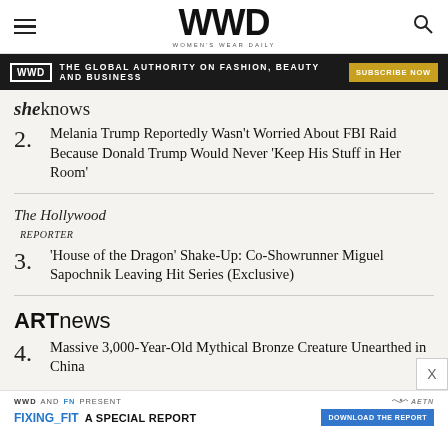WWD — WOMEN'S WEAR DAILY
THE GLOBAL AUTHORITY ON FASHION, BEAUTY AND BUSINESS — SUBSCRIBE NOW
[Figure (logo): SheKnows source logo]
2. Melania Trump Reportedly Wasn't Worried About FBI Raid Because Donald Trump Would Never 'Keep His Stuff in Her Room'
[Figure (logo): The Hollywood Reporter source logo]
3. 'House of the Dragon' Shake-Up: Co-Showrunner Miguel Sapochnik Leaving Hit Series (Exclusive)
[Figure (logo): ARTnews source logo]
4. Massive 3,000-Year-Old Mythical Bronze Creature Unearthed in China
WWD AND FN PRESENT — FIXING_FIT A SPECIAL REPORT — DOWNLOAD THE REPORT